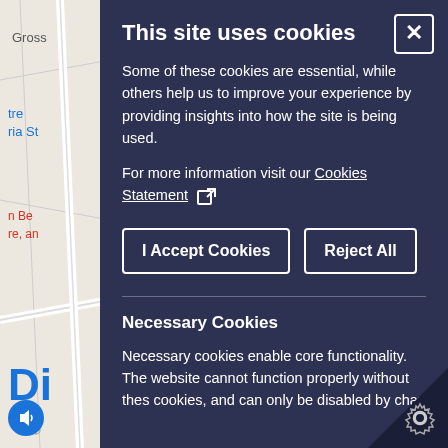[Figure (screenshot): Partial map background visible on left side showing street map with labels including 'Gross', 'tre', 'ria St', 'n Be', 're, an', 'Di' text fragments and a blue audio button]
This site uses cookies
Some of these cookies are essential, while others help us to improve your experience by providing insights into how the site is being used.
For more information visit our Cookies Statement [external link icon]
I Accept Cookies | Reject All
Necessary Cookies
Necessary cookies enable core functionality. The website cannot function properly without these cookies, and can only be disabled by chan